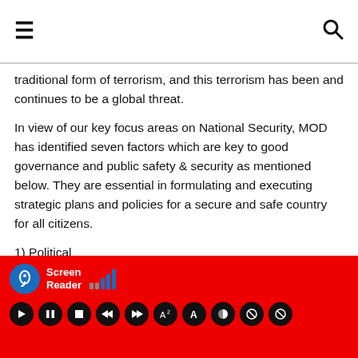≡  🔍
traditional form of terrorism, and this terrorism has been and continues to be a global threat.
In view of our key focus areas on National Security, MOD has identified seven factors which are key to good governance and public safety & security as mentioned below. They are essential in formulating and executing strategic plans and policies for a secure and safe country for all citizens.
1) Political
2) Economic
3) Social
Screen Reader | accessibility toolbar